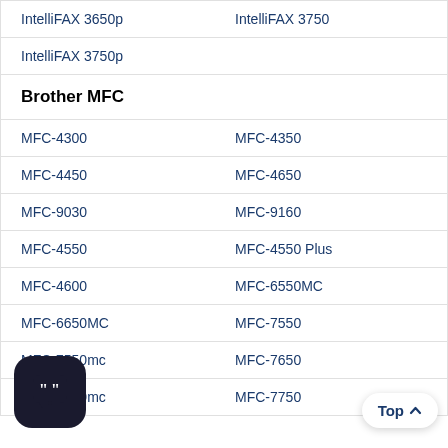| IntelliFAX 3650p | IntelliFAX 3750 |
| IntelliFAX 3750p |  |
| Brother MFC |  |
| MFC-4300 | MFC-4350 |
| MFC-4450 | MFC-4650 |
| MFC-9030 | MFC-9160 |
| MFC-4550 | MFC-4550 Plus |
| MFC-4600 | MFC-6550MC |
| MFC-6650MC | MFC-7550 |
| MFC-7550mc | MFC-7650 |
| MFC-7650mc | MFC-7750 |